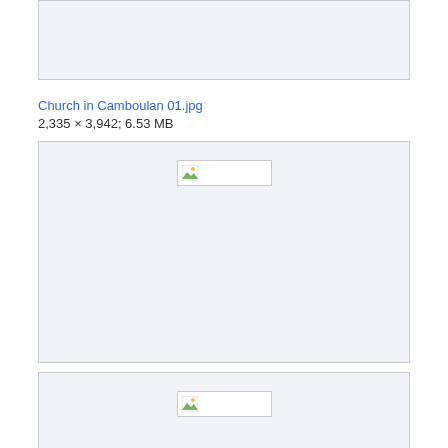[Figure (photo): Partial image box (top of previous image, cropped), light gray background with border]
Church in Camboulan 01.jpg
2,335 × 3,942; 6.53 MB
[Figure (photo): Image placeholder box with broken image icon, light gray background with border]
Church in Camboulan 02.jpg
2,250 × 3,408; 5.99 MB
[Figure (photo): Image placeholder box with broken image icon, light gray background with border, partially visible]